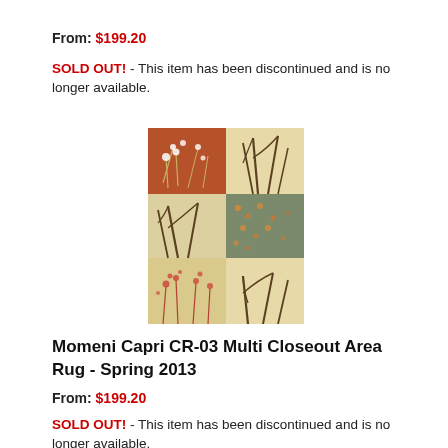From: $199.20
SOLD OUT! - This item has been discontinued and is no longer available.
[Figure (photo): Product photo of Momeni Capri CR-03 Multi Closeout Area Rug showing a 3x2 grid pattern with floral and grass motifs in terracotta, sage green, and cream colors]
Momeni Capri CR-03 Multi Closeout Area Rug - Spring 2013
From: $199.20
SOLD OUT! - This item has been discontinued and is no longer available.